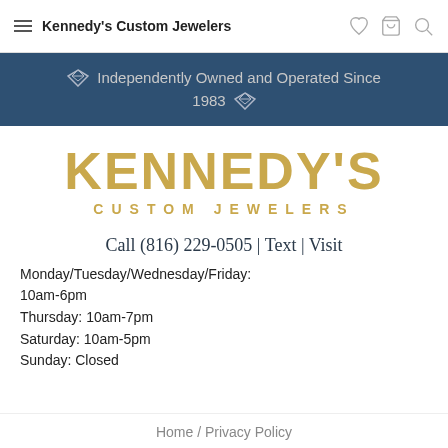Kennedy's Custom Jewelers
Independently Owned and Operated Since 1983
[Figure (logo): Kennedy's Custom Jewelers logo in gold text on white background]
Call (816) 229-0505 | Text | Visit
Monday/Tuesday/Wednesday/Friday: 10am-6pm
Thursday: 10am-7pm
Saturday: 10am-5pm
Sunday: Closed
Home / Privacy Policy